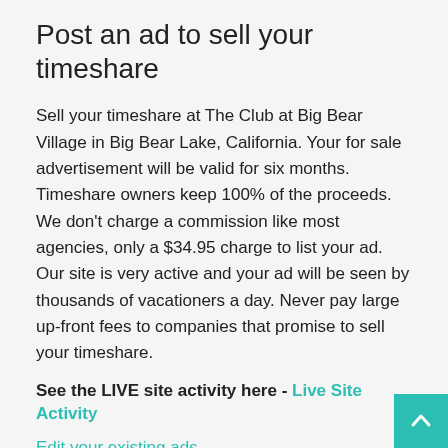Post an ad to sell your timeshare
Sell your timeshare at The Club at Big Bear Village in Big Bear Lake, California. Your for sale advertisement will be valid for six months. Timeshare owners keep 100% of the proceeds. We don't charge a commission like most agencies, only a $34.95 charge to list your ad. Our site is very active and your ad will be seen by thousands of vacationers a day. Never pay large up-front fees to companies that promise to sell your timeshare.
See the LIVE site activity here - Live Site Activity
Edit your existing ads
Why advertise your timeshare here?
See a list of vacationers that are on a waiting list for new ads